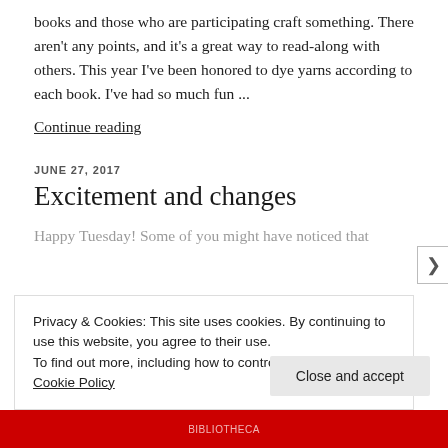books and those who are participating craft something. There aren't any points, and it's a great way to read-along with others. This year I've been honored to dye yarns according to each book. I've had so much fun ...
Continue reading
JUNE 27, 2017
Excitement and changes
Happy Tuesday! Some of you might have noticed that
Privacy & Cookies: This site uses cookies. By continuing to use this website, you agree to their use.
To find out more, including how to control cookies, see here: Cookie Policy
Close and accept